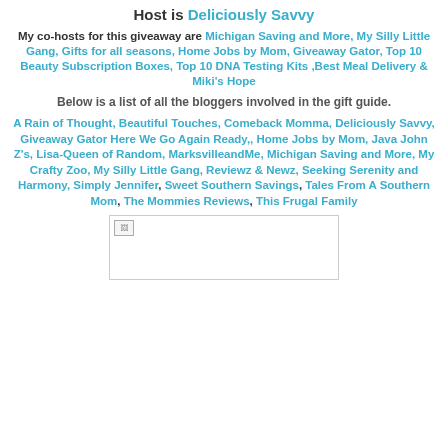Host is Deliciously Savvy
My co-hosts for this giveaway are Michigan Saving and More, My Silly Little Gang, Gifts for all seasons, Home Jobs by Mom, Giveaway Gator, Top 10 Beauty Subscription Boxes, Top 10 DNA Testing Kits ,Best Meal Delivery & Miki's Hope
Below is a list of all the bloggers involved in the gift guide.
A Rain of Thought, Beautiful Touches, Comeback Momma, Deliciously Savvy, Giveaway Gator Here We Go Again Ready,, Home Jobs by Mom, Java John Z's, Lisa-Queen of Random, MarksvilleandMe, Michigan Saving and More, My Crafty Zoo, My Silly Little Gang, Reviewz & Newz, Seeking Serenity and Harmony, Simply Jennifer, Sweet Southern Savings, Tales From A Southern Mom, The Mommies Reviews, This Frugal Family
[Figure (photo): Broken image placeholder with small image icon in top-left corner]